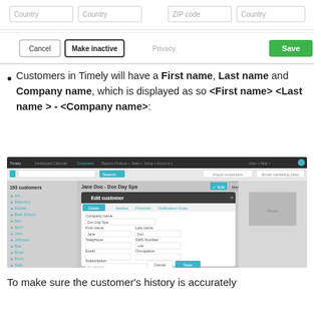[Figure (screenshot): Top of a form UI showing input fields with 'Country' and 'Zipcode' placeholders, partially visible]
[Figure (screenshot): Button bar with Cancel, Make inactive buttons, a Privacy text, and a green Save button]
Customers in Timely will have a First name, Last name and Company name, which is displayed as so <First name> <Last name > - <Company name>:
[Figure (screenshot): Screenshot of Timely customer management interface showing an Edit customer modal dialog with fields for Company name (Doc Day Spa), First name (Jane), Last name (Doc), Telephone, SMS number, Email, Occupation, and Subscription fields, with Cancel and Save buttons]
To make sure the customer's history is accurately